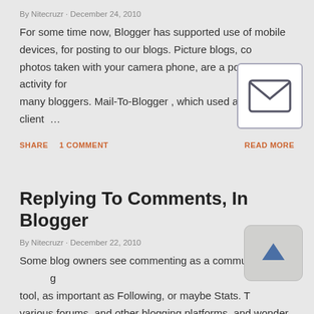By Nitecruzr · December 24, 2010
For some time now, Blogger has supported use of mobile devices, for posting to our blogs. Picture blogs, containing photos taken with your camera phone, are a popular activity for many bloggers. Mail-To-Blogger , which used an email client …
SHARE   1 COMMENT   READ MORE
Replying To Comments, In Blogger
By Nitecruzr · December 22, 2010
Some blog owners see commenting as a community building tool, as important as Following, or maybe Stats. They see various forums, and other blogging platforms, and wonder why